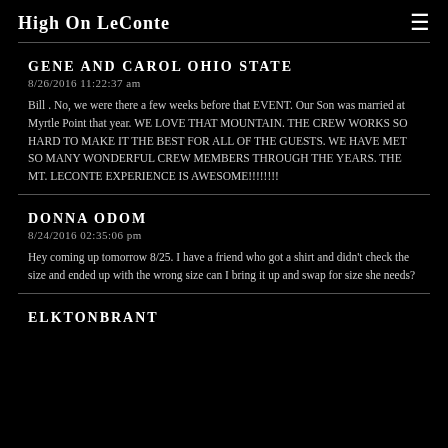High On LeConte
GENE AND CAROL OHIO STATE
8/26/2016 11:22:37 am
Bill . No, we were there a few weeks before that EVENT. Our Son was married at Myrtle Point that year. WE LOVE THAT MOUNTAIN. THE CREW WORKS SO HARD TO MAKE IT THE BEST FOR ALL OF THE GUESTS. WE HAVE MET SO MANY WONDERFUL CREW MEMBERS THROUGH THE YEARS. THE MT. LECONTE EXPERIENCE IS AWESOME!!!!!!!
DONNA ODOM
8/24/2016 02:35:06 pm
Hey coming up tomorrow 8/25. I have a friend who got a shirt and didn't check the size and ended up with the wrong size can I bring it up and swap for size she needs?
ELKTONBRANT